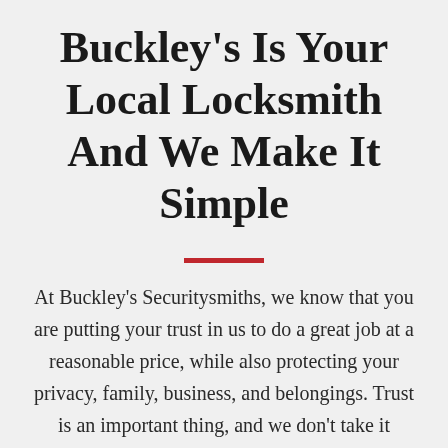Buckley's Is Your Local Locksmith And We Make It Simple
At Buckley's Securitysmiths, we know that you are putting your trust in us to do a great job at a reasonable price, while also protecting your privacy, family, business, and belongings. Trust is an important thing, and we don't take it lightly. That's